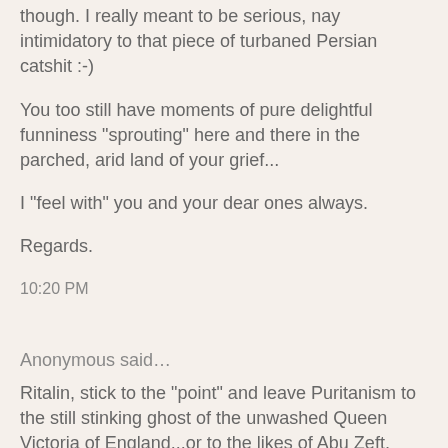though. I really meant to be serious, nay intimidatory to that piece of turbaned Persian catshit :-)
You too still have moments of pure delightful funniness "sprouting" here and there in the parched, arid land of your grief...
I "feel with" you and your dear ones always.
Regards.
10:20 PM
Anonymous said…
Ritalin, stick to the "point" and leave Puritanism to the still stinking ghost of the unwashed Queen Victoria of England...or to the likes of Abu Zeft, which is the same.
By the way, where is that pervert ?
And, more importantly, where is our dear little JR ???